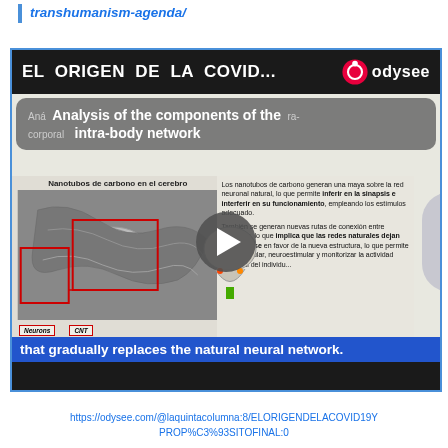transhumanism-agenda/
[Figure (screenshot): Screenshot of an Odysee video titled 'EL ORIGEN DE LA COVID...' showing a slide about 'Analysis of the components of the intra-body network' with carbon nanotube microscopy images and Spanish text about neural networks. A subtitle reads 'that gradually replaces the natural neural network.' The Odysee logo appears in the top right.]
https://odysee.com/@laquintacolumna:8/ELORIGENDELACOVID19YPROP%C3%93SITOFINAL:0